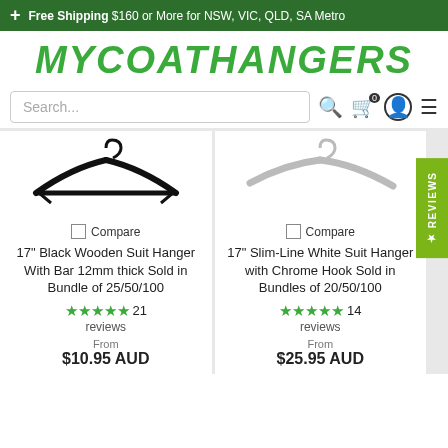Free Shipping $160 or More for NSW, VIC, QLD, SA Metro
MYCOATHANGERS
Search...
[Figure (photo): Black coat hanger top view]
Compare
17" Black Wooden Suit Hanger With Bar 12mm thick Sold in Bundle of 25/50/100
★★★★★ 21 reviews
From
[Figure (photo): White slim-line coat hanger top view]
Compare
17" Slim-Line White Suit Hanger with Chrome Hook Sold in Bundles of 20/50/100
★★★★★ 14 reviews
From